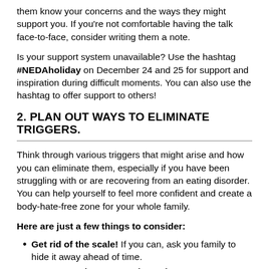them know your concerns and the ways they might support you. If you're not comfortable having the talk face-to-face, consider writing them a note.
Is your support system unavailable? Use the hashtag #NEDAholiday on December 24 and 25 for support and inspiration during difficult moments. You can also use the hashtag to offer support to others!
2. PLAN OUT WAYS TO ELIMINATE TRIGGERS.
Think through various triggers that might arise and how you can eliminate them, especially if you have been struggling with or are recovering from an eating disorder. You can help yourself to feel more confident and create a body-hate-free zone for your whole family.
Here are just a few things to consider:
Get rid of the scale! If you can, ask you family to hide it away ahead of time.
Stow away those magazines. If your parents